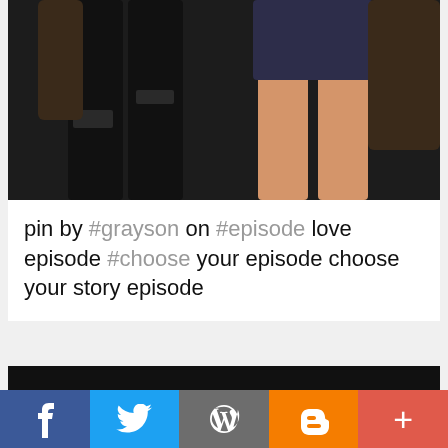[Figure (illustration): Animated illustration showing lower bodies of two cartoon characters — one in black ripped jeans and one with bare legs in dark shorts, stylized art style]
pin by #grayson on #episode love episode #choose your episode choose your story episode
[Figure (illustration): Close-up animated illustration of a dark-haired male character with styled hair, strong eyebrows, and an earring, looking sideways with a smirk]
f  [Twitter bird]  [WordPress W]  B  +